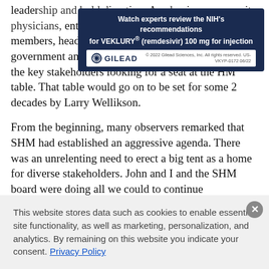leadership and bold direction. Academics, community physicians, entrepreneurs, nonphysician hospital team members, heads of organized medicine, and government and industry leaders were just some of the key stakeholders looking for a seat at the HM table. That table would go on to be set for some 2 decades by Larry Wellikson.
[Figure (other): Gilead advertisement banner: 'Watch experts review the NIH's recommendations for VEKLURY® (remdesivir) 100 mg for injection' with Gilead logo and copyright '© 2022 Gilead Sciences, Inc. All rights reserved. US-VKYP-0172 06/22']
From the beginning, many observers remarked that SHM had established an aggressive agenda. There was an unrelenting need to erect a big tent as a home for diverse stakeholders. John and I and the SHM board were doing all we could to continue to build momentum while developing a broad...
This website stores data such as cookies to enable essential site functionality, as well as marketing, personalization, and analytics. By remaining on this website you indicate your consent. Privacy Policy